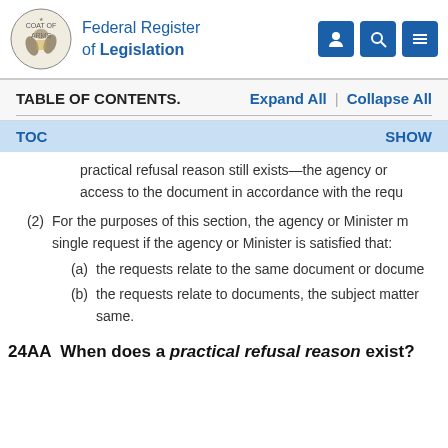Federal Register of Legislation
TABLE OF CONTENTS.    Expand All  |  Collapse All
TOC    SHOW
practical refusal reason still exists—the agency or access to the document in accordance with the requ
(2)  For the purposes of this section, the agency or Minister m single request if the agency or Minister is satisfied that:
(a)  the requests relate to the same document or docume
(b)  the requests relate to documents, the subject matter same.
24AA  When does a practical refusal reason exist?